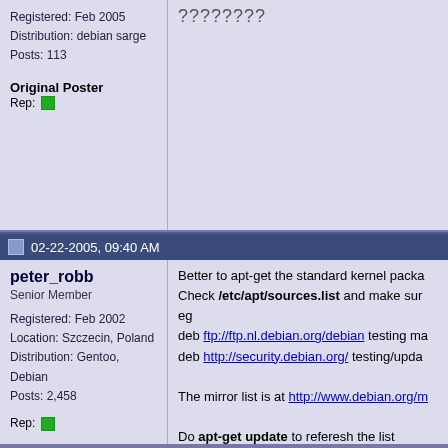Registered: Feb 2005
Distribution: debian sarge
Posts: 113

Original Poster
Rep: [icon]
????????
02-22-2005, 09:40 AM
peter_robb
Senior Member

Registered: Feb 2002
Location: Szczecin, Poland
Distribution: Gentoo, Debian
Posts: 2,458

Rep: [icon]
Better to apt-get the standard kernel packa...
Check /etc/apt/sources.list and make sur...
eg
deb ftp://ftp.nl.debian.org/debian testing ma...
deb http://security.debian.org/ testing/upda...

The mirror list is at http://www.debian.org/m...

Do apt-get update to referesh the list
Do apt-get upgrade to get a list of packag...
See if kernel and iptables are in the list. If s...
There may be other upgrades that will requ...
questions, so make the list shorter manually...
You may need to redo lilo manually. Do it a...
Check /boot to make sure the kernel has in...
/lib/modules/2.6.10/kernel/net/ipv4/netfilter...
Check the config files that were updated ar...
Last edited by peter_robb; 02-22-2005 at 09:42 AM..